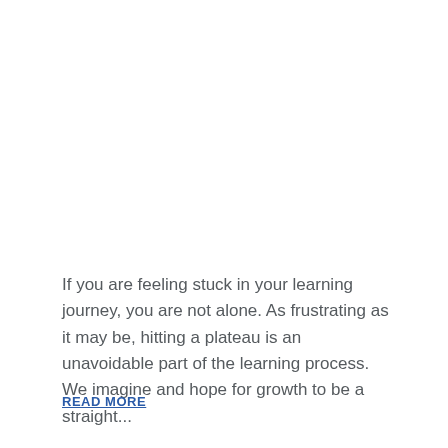If you are feeling stuck in your learning journey, you are not alone. As frustrating as it may be, hitting a plateau is an unavoidable part of the learning process. We imagine and hope for growth to be a straight...
READ MORE